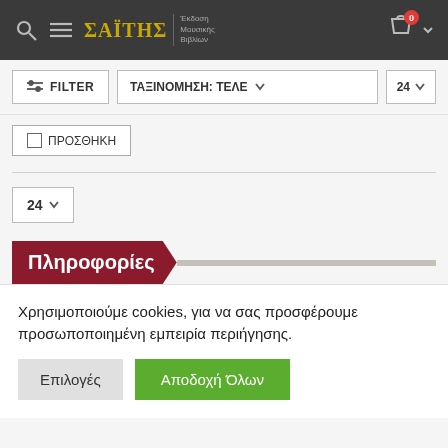ΣΑΪΤΗΣ — e-shop header with search, menu, logo, cart (0)
FILTER | ΤΑΞΙΝΟΜΗΣΗ: ΤΕΛΕ ∨ | 24 ∨
ΠΡΟΣΘΗΚΗ
24 ∨
Πληροφορίες
Χρησιμοποιούμε cookies, για να σας προσφέρουμε προσωποποιημένη εμπειρία περιήγησης.
Επιλογές | Αποδοχή Όλων